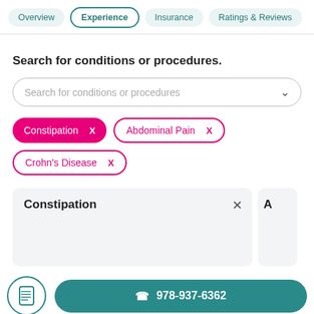Overview | Experience | Insurance | Ratings & Reviews
Search for conditions or procedures.
Search for conditions or procedures
Constipation X
Abdominal Pain X
Crohn's Disease X
Constipation
978-937-6362